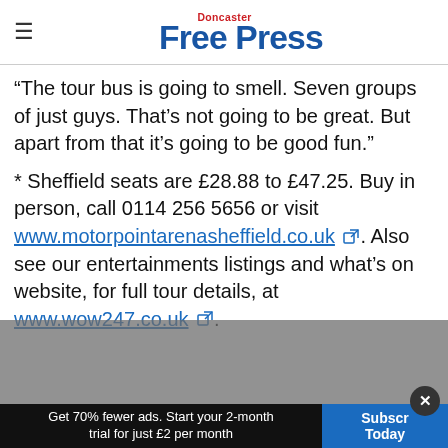Doncaster Free Press
“The tour bus is going to smell. Seven groups of just guys. That’s not going to be great. But apart from that it’s going to be good fun.”
* Sheffield seats are £28.88 to £47.25. Buy in person, call 0114 256 5656 or visit www.motorpointarenasheffield.co.uk. Also see our entertainments listings and what’s on website, for full tour details, at www.wow247.co.uk.
Get 70% fewer ads. Start your 2-month trial for just £2 per month
Subscribe Today